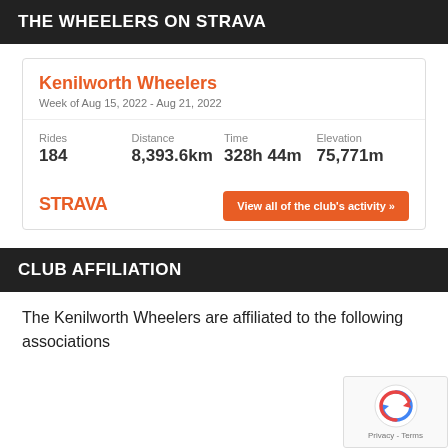THE WHEELERS ON STRAVA
Kenilworth Wheelers
Week of Aug 15, 2022 - Aug 21, 2022
| Rides | Distance | Time | Elevation |
| --- | --- | --- | --- |
| 184 | 8,393.6km | 328h 44m | 75,771m |
[Figure (logo): STRAVA logo in orange]
View all of the club's activity »
CLUB AFFILIATION
The Kenilworth Wheelers are affiliated to the following associations